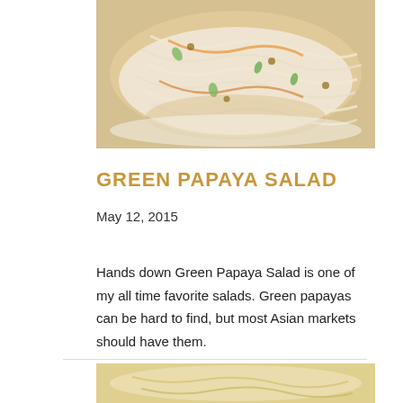[Figure (photo): Close-up photo of Green Papaya Salad on a white plate, showing shredded papaya, carrots, herbs, and sauce]
GREEN PAPAYA SALAD
May 12, 2015
Hands down Green Papaya Salad is one of my all time favorite salads. Green papayas can be hard to find, but most Asian markets should have them.
[Figure (photo): Partial photo of another dish visible at the bottom of the page]